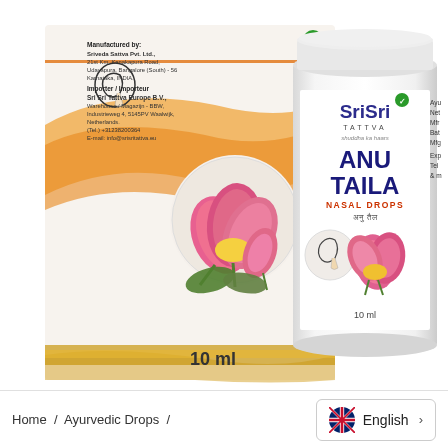[Figure (photo): Product photo showing Sri Sri Tattva Anu Taila Nasal Drops 10ml packaging. Left side shows a cardboard box with orange/gold wave design, lotus flowers, printed text including manufacturer details (Sriveda Sattva Pvt. Ltd., 21st Km, Kanakapura Road, Udayapura, Bangalore (South)-560, Karnataka, India) and importer details (Sri Sri Tattva Europe B.V., Warehouse/Magazijn-BBW, Industrieweg 4, 5145PV Waalwijk, Netherlands, Tel: +31238200364, E-mail: info@srisritattva.eu), 10 ml label. Right side shows a white plastic bottle with the Sri Sri Tattva Anu Taila Nasal Drops label, showing brand name, lotus flower imagery, and 10 ml volume.]
Home / Ayurvedic Drops / English